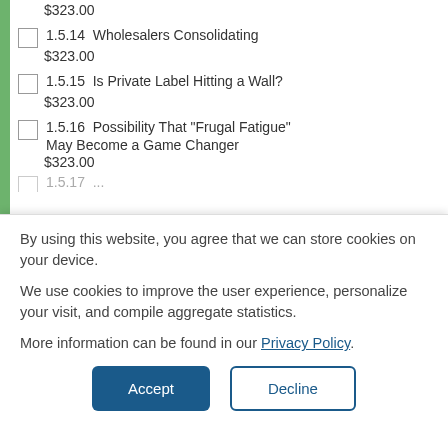$323.00
1.5.14  Wholesalers Consolidating
$323.00
1.5.15  Is Private Label Hitting a Wall?
$323.00
1.5.16  Possibility That "Frugal Fatigue" May Become a Game Changer
$323.00
By using this website, you agree that we can store cookies on your device.
We use cookies to improve the user experience, personalize your visit, and compile aggregate statistics.
More information can be found in our Privacy Policy.